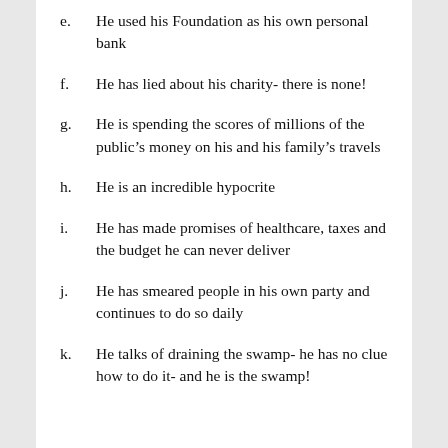e.    He used his Foundation as his own personal bank
f.    He has lied about his charity- there is none!
g.    He is spending the scores of millions of the public’s money on his and his family’s travels
h.    He is an incredible hypocrite
i.    He has made promises of healthcare, taxes and the budget he can never deliver
j.    He has smeared people in his own party and continues to do so daily
k.    He talks of draining the swamp- he has no clue how to do it- and he is the swamp!